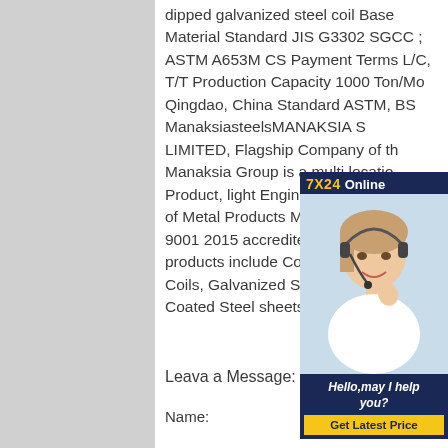dipped galvanized steel coil Base Material Standard JIS G3302 SGCC ; ASTM A653M CS Payment Terms L/C, T/T Production Capacity 1000 Ton/Mo Qingdao, China Standard ASTM, BS ManaksiasteelsMANAKSIA S LIMITED, Flagship Company of th Manaksia Group is a multi locatio Product, light Engineering Compa field of Metal Products Metal Form An ISO 9001 2015 accredited co major products include Cold Rolle Sheets Coils, Galvanized Steel sh Coil. Color Coated Steel sheets coils.
[Figure (other): Advertisement overlay showing a customer service representative with headset. Header reads '7X24 Online' in gold and white on dark blue background. Bottom section has italic text 'Hello,may I help you?' and a yellow button 'Get Latest Price'.]
Leava a Message:
Name: